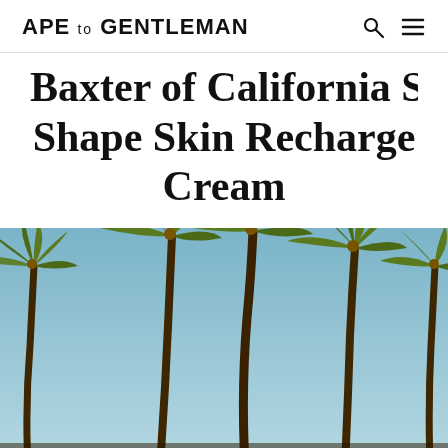APE TO GENTLEMAN
Baxter of California Super Shape Skin Recharge Cream
[Figure (photo): Palm trees photographed from below against a clear blue sky, warm vintage tone, multiple tall palm trees visible.]